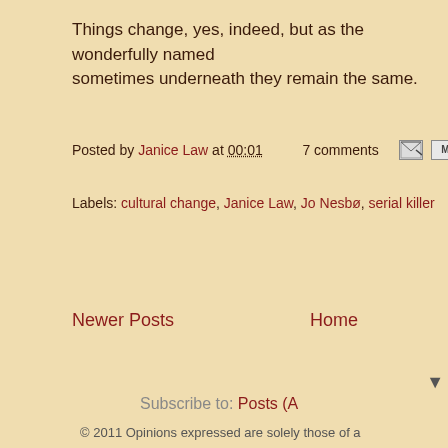Things change, yes, indeed, but as the wonderfully named sometimes underneath they remain the same.
Posted by Janice Law at 00:01    7 comments
Labels: cultural change, Janice Law, Jo Nesbø, serial killer
Newer Posts
Home
Subscribe to: Posts (A
© 2011 Opinions expressed are solely those of a